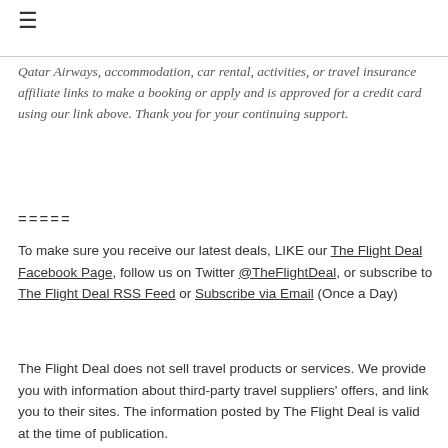☰
Qatar Airways, accommodation, car rental, activities, or travel insurance affiliate links to make a booking or apply and is approved for a credit card using our link above. Thank you for your continuing support.
=====
To make sure you receive our latest deals, LIKE our The Flight Deal Facebook Page, follow us on Twitter @TheFlightDeal, or subscribe to The Flight Deal RSS Feed or Subscribe via Email (Once a Day)
The Flight Deal does not sell travel products or services. We provide you with information about third-party travel suppliers' offers, and link you to their sites. The information posted by The Flight Deal is valid at the time of publication.